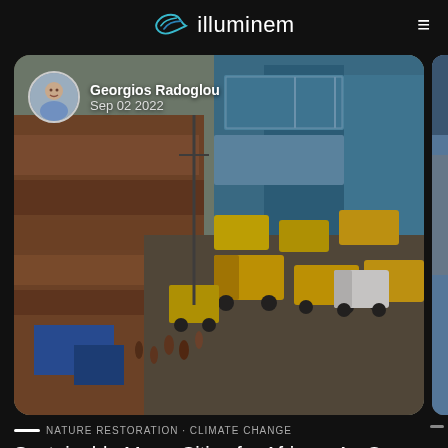illuminem
[Figure (photo): Aerial/overhead view of a busy African port city street with yellow trucks, shipping containers, and crowds of people]
Georgios Radoglou
Sep 02 2022
NATURE RESTORATION · CLIMATE CHANGE
Sustainable Mega-Cities for Africa – An Oxymoron
Related posts
Subscribe
[Figure (logo): Science Daily logo — circular white badge with SD letters in blue]
Science Daily